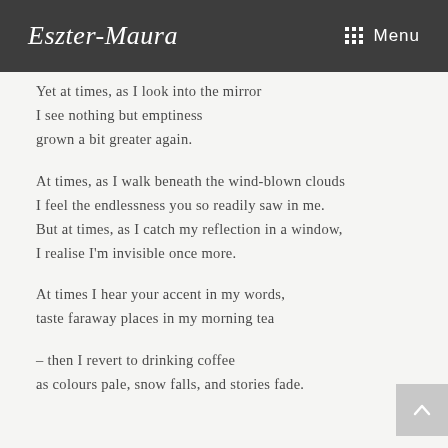Eszter-Maura  Menu
Yet at times, as I look into the mirror
I see nothing but emptiness
grown a bit greater again.
At times, as I walk beneath the wind-blown clouds
I feel the endlessness you so readily saw in me.
But at times, as I catch my reflection in a window,
I realise I'm invisible once more.
At times I hear your accent in my words,
taste faraway places in my morning tea
– then I revert to drinking coffee
as colours pale, snow falls, and stories fade.